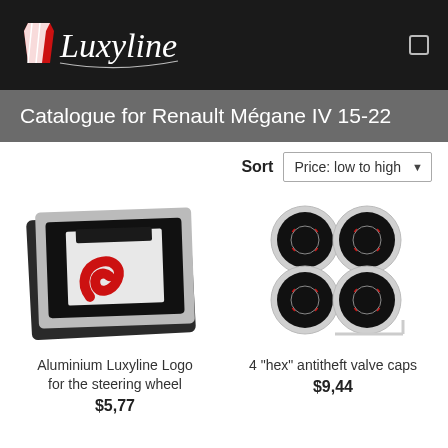[Figure (logo): Luxyline brand logo: white stylized slanted lines and italic Luxyline text on dark background]
Catalogue for Renault Mégane IV 15-22
Sort  Price: low to high
[Figure (photo): Aluminium Luxyline Logo badge for the steering wheel — silver/black rectangular badge with red S-curve logo on dark background]
Aluminium Luxyline Logo for the steering wheel
$5,77
[Figure (photo): Set of 4 hex antitheft valve caps — chrome hexagonal caps with black/red Luxyline logo on top, with hex key wrench]
4 "hex" antitheft valve caps
$9,44